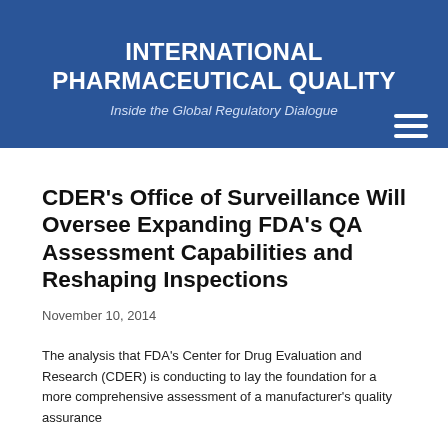INTERNATIONAL PHARMACEUTICAL QUALITY
Inside the Global Regulatory Dialogue
CDER's Office of Surveillance Will Oversee Expanding FDA's QA Assessment Capabilities and Reshaping Inspections
November 10, 2014
The analysis that FDA's Center for Drug Evaluation and Research (CDER) is conducting to lay the foundation for a more comprehensive assessment of a manufacturer's quality assurance